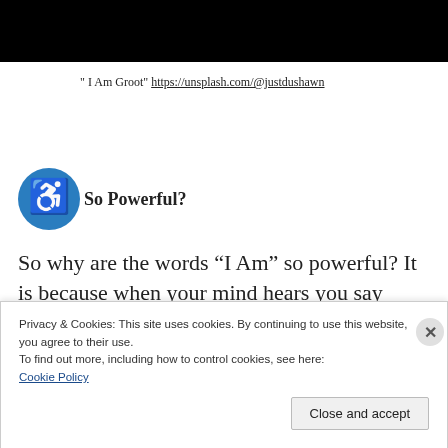[Figure (photo): Dark/black image at top of page]
" I Am Groot" https://unsplash.com/@justdushawn
So Powerful?
So why are the words “I Am” so powerful? It is because when your mind hears you say these words, it is creating life to match your words
Privacy & Cookies: This site uses cookies. By continuing to use this website, you agree to their use.
To find out more, including how to control cookies, see here:
Cookie Policy